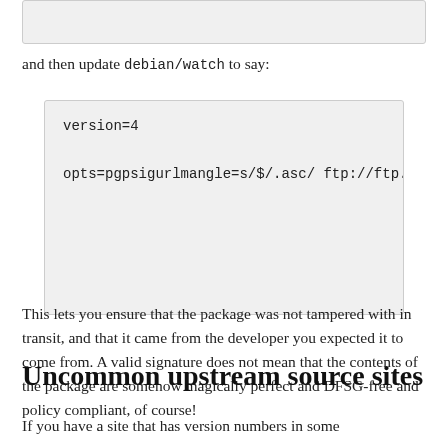[Figure (screenshot): Top code block partially visible at top of page]
and then update debian/watch to say:
[Figure (screenshot): Code block showing: version=4
opts=pgpsigurlmangle=s/$/.asc/ ftp://ftp.op]
This lets you ensure that the package was not tampered with in transit, and that it came from the developer you expected it to come from. A valid signature does not mean that the contents of the package are somehow magically perfect and DFSG-free and policy compliant, of course!
Uncommon upstream source sites
If you have a site that has version numbers in some